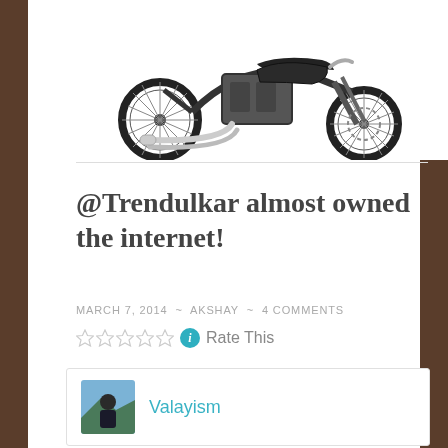[Figure (photo): Partial view of a classic/vintage motorcycle (black and chrome), showing the engine, exhaust pipes, and rear wheel with spoke rims, against a white background.]
@Trendulkar almost owned the internet!
MARCH 7, 2014 ~ AKSHAY ~ 4 COMMENTS
Rate This
Valayism